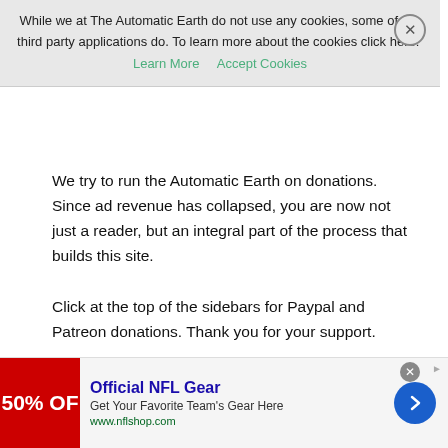While we at The Automatic Earth do not use any cookies, some of our third party applications do. To learn more about the cookies click here: Learn More Accept Cookies
We try to run the Automatic Earth on donations. Since ad revenue has collapsed, you are now not just a reader, but an integral part of the process that builds this site.

Click at the top of the sidebars for Paypal and Patreon donations. Thank you for your support.
€7 rapid test in Germany
https://twitter.com/stevelizcano/status/1328972463825326080
[Figure (infographic): Advertisement banner for Official NFL Gear showing a red box with '50% OFF' text, ad title 'Official NFL Gear', subtitle 'Get Your Favorite Team's Gear Here', URL 'www.nflshop.com', and a blue circular arrow button.]